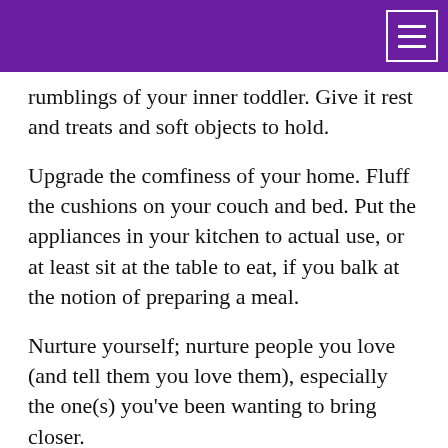rumblings of your inner toddler. Give it rest and treats and soft objects to hold.
Upgrade the comfiness of your home. Fluff the cushions on your couch and bed. Put the appliances in your kitchen to actual use, or at least sit at the table to eat, if you balk at the notion of preparing a meal.
Nurture yourself; nurture people you love (and tell them you love them), especially the one(s) you've been wanting to bring closer.
And if (okay, when) you see someone on the warpath, consider whether the battle has